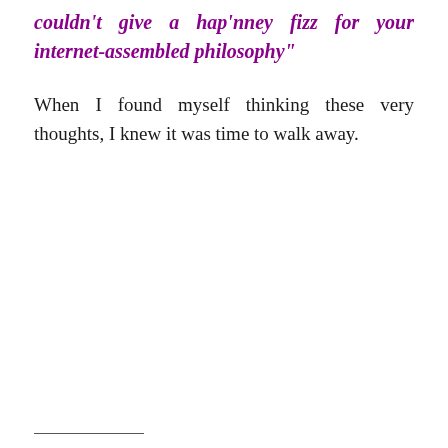couldn't give a hap'nney fizz for your internet-assembled philosophy”
When I found myself thinking these very thoughts, I knew it was time to walk away.